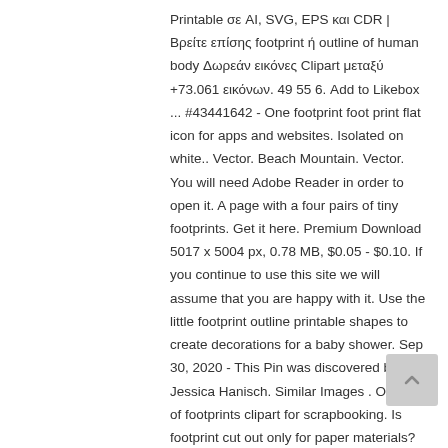Printable σε AI, SVG, EPS και CDR | Βρείτε επίσης footprint ή outline of human body Δωρεάν εικόνες Clipart μεταξύ +73.061 εικόνων. 49 55 6. Add to Likebox ... #43441642 - One footprint foot print flat icon for apps and websites. Isolated on white.. Vector. Beach Mountain. Vector. You will need Adobe Reader in order to open it. A page with a four pairs of tiny footprints. Get it here. Premium Download 5017 x 5004 px, 0.78 MB, $0.05 - $0.10. If you continue to use this site we will assume that you are happy with it. Use the little footprint outline printable shapes to create decorations for a baby shower. Sep 30, 2020 - This Pin was discovered by Jessica Hanisch. Similar Images . Outline of footprints clipart for scrapbooking. Is footprint cut out only for paper materials? Vector. We are a participant in the Amazon Services LLC